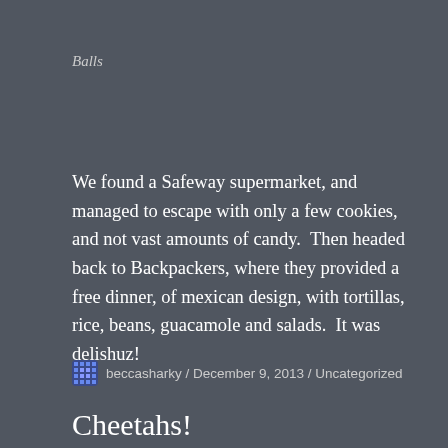Balls
We found a Safeway supermarket, and managed to escape with only a few cookies, and not vast amounts of candy.  Then headed back to Backpackers, where they provided a free dinner, of mexican design, with tortillas, rice, beans, guacamole and salads.  It was delishuz!
beccasharky / December 9, 2013 / Uncategorized
Cheetahs!